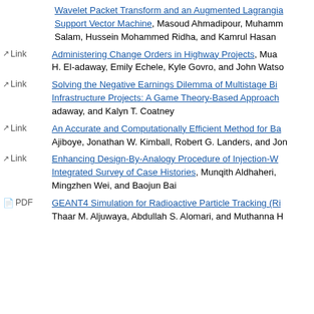Wavelet Packet Transform and an Augmented Lagrangian Support Vector Machine, Masoud Ahmadipour, Muhammad Salam, Hussein Mohammed Ridha, and Kamrul Hasan
Link - Administering Change Orders in Highway Projects, Muaz H. El-adaway, Emily Echele, Kyle Govro, and John Watson
Link - Solving the Negative Earnings Dilemma of Multistage Bid Infrastructure Projects: A Game Theory-Based Approach, adaway, and Kalyn T. Coatney
Link - An Accurate and Computationally Efficient Method for Ba, Ajiboye, Jonathan W. Kimball, Robert G. Landers, and Jon
Link - Enhancing Design-By-Analogy Procedure of Injection-W Integrated Survey of Case Histories, Munqith Aldhaheri, Mingzhen Wei, and Baojun Bai
PDF - GEANT4 Simulation for Radioactive Particle Tracking (Ri, Thaar M. Aljuwaya, Abdullah S. Alomari, and Muthanna H